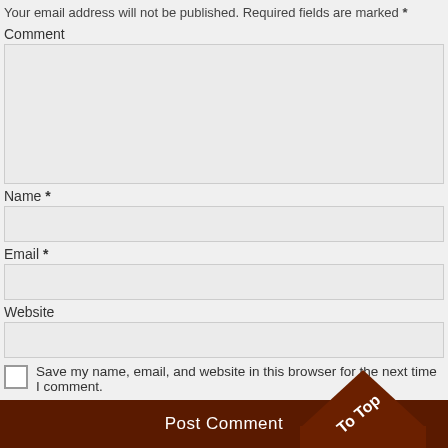Your email address will not be published. Required fields are marked *
Comment
[Figure (screenshot): Large comment textarea input field with light gray background]
Name *
[Figure (screenshot): Single-line name input field with light gray background]
Email *
[Figure (screenshot): Single-line email input field with light gray background]
Website
[Figure (screenshot): Single-line website input field with light gray background]
Save my name, email, and website in this browser for the next time I comment.
[Figure (screenshot): Post Comment button bar in dark brown with To Top arrow overlay]